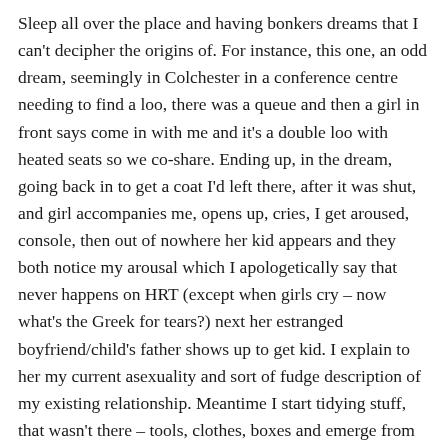Sleep all over the place and having bonkers dreams that I can't decipher the origins of. For instance, this one, an odd dream, seemingly in Colchester in a conference centre needing to find a loo, there was a queue and then a girl in front says come in with me and it's a double loo with heated seats so we co-share. Ending up, in the dream, going back in to get a coat I'd left there, after it was shut, and girl accompanies me, opens up, cries, I get aroused, console, then out of nowhere her kid appears and they both notice my arousal which I apologetically say that never happens on HRT (except when girls cry – now what's the Greek for tears?) next her estranged boyfriend/child's father shows up to get kid. I explain to her my current asexuality and sort of fudge description of my existing relationship. Meantime I start tidying stuff, that wasn't there – tools, clothes, boxes and emerge from loo with not just my left behind coat but boxes of tidied stuff. Come out to my partner in the car park and try to explain I only went in for my coat and why it's several hours later and I've loads more stuff with me! I tell Esther the dream and she says I should have gone for it